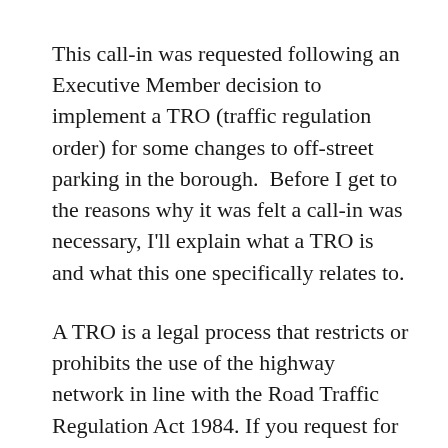This call-in was requested following an Executive Member decision to implement a TRO (traffic regulation order) for some changes to off-street parking in the borough. Before I get to the reasons why it was felt a call-in was necessary, I'll explain what a TRO is and what this one specifically relates to.
A TRO is a legal process that restricts or prohibits the use of the highway network in line with the Road Traffic Regulation Act 1984. If you request for example double yellow lines or a change in speed limit, it's a TRO process that must be undertaken to implement them. New TROs need to have the full support of the Police who are a statutory consultee, and there